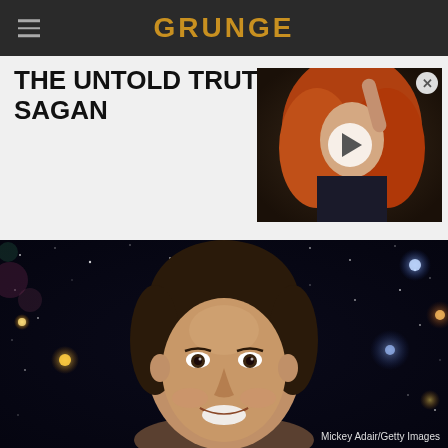GRUNGE
THE UNTOLD TRUTH OF CARL SAGAN
[Figure (photo): Video thumbnail showing a woman with long curly red/orange hair with a play button overlay]
[Figure (photo): Carl Sagan smiling against a space/galaxy background with colorful stars and nebulae. Photo credit: Mickey Adair/Getty Images]